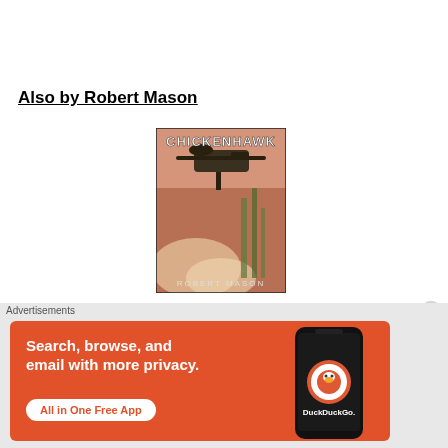Also by Robert Mason
[Figure (photo): Book cover of Chickenhawk by Robert Mason showing a helicopter over jungle warfare scene]
Chickenhawk
Advertisements
[Figure (infographic): DuckDuckGo advertisement banner: Search, browse, and email with more privacy. All in One Free App. Shows DuckDuckGo logo on a phone.]